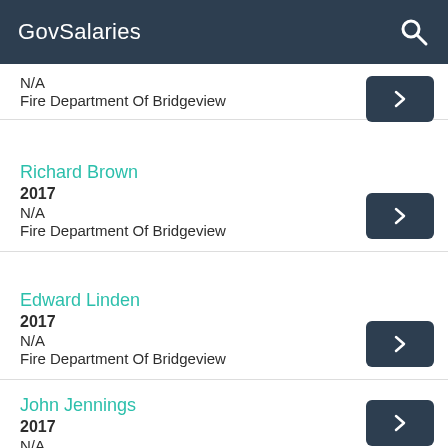GovSalaries
N/A
Fire Department Of Bridgeview
Richard Brown
2017
N/A
Fire Department Of Bridgeview
Edward Linden
2017
N/A
Fire Department Of Bridgeview
John Jennings
2017
N/A